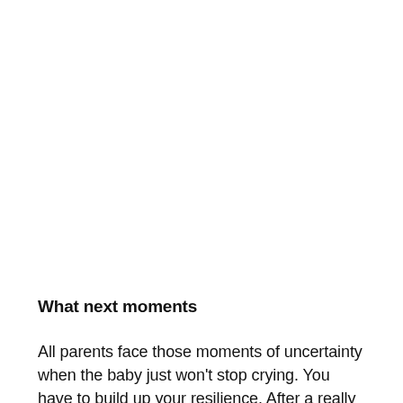What next moments
All parents face those moments of uncertainty when the baby just won't stop crying. You have to build up your resilience. After a really a nt